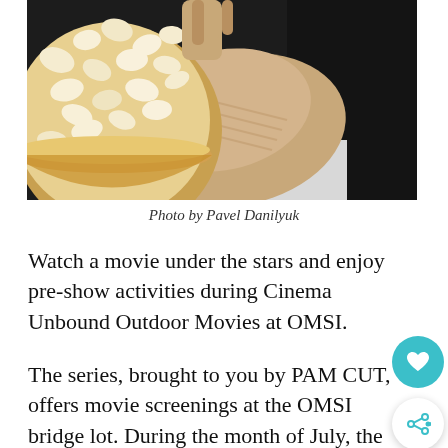[Figure (photo): Person holding a large bowl of popcorn, wearing a beige knit sweater sleeve, against a dark background with another person in a dark jacket visible]
Photo by Pavel Danilyuk
Watch a movie under the stars and enjoy pre-show activities during Cinema Unbound Outdoor Movies at OMSI.
The series, brought to you by PAM CUT, offers movie screenings at the OMSI bridge lot. During the month of July, the outdoor event features cult classics, family-friendly movies and nostalgic hits